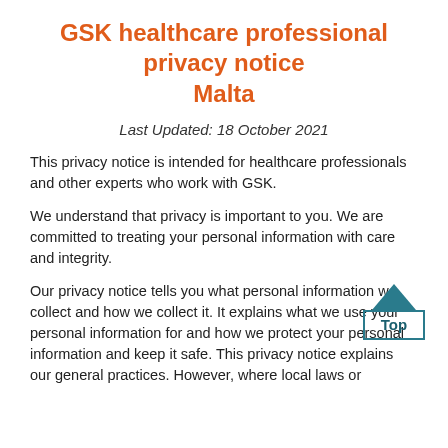GSK healthcare professional privacy notice Malta
Last Updated: 18 October 2021
This privacy notice is intended for healthcare professionals and other experts who work with GSK.
We understand that privacy is important to you. We are committed to treating your personal information with care and integrity.
[Figure (other): Top navigation button with teal upward arrow above a bordered box labeled 'Top']
Our privacy notice tells you what personal information we collect and how we collect it. It explains what we use your personal information for and how we protect your personal information and keep it safe. This privacy notice explains our general practices. However, where local laws or